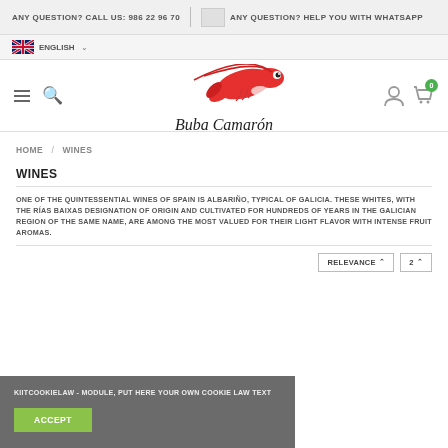ANY QUESTION? CALL US: 986 22 96 70 | ANY QUESTION? HELP YOU WITH WHATSAPP
ENGLISH
[Figure (logo): Buba Camarón logo with red shrimp illustration and cursive brand name text]
HOME / WINES
WINES
ONE OF THE QUINTESSENTIAL WINES OF SPAIN IS ALBARIÑO, TYPICAL OF GALICIA. THESE WHITES, WITH THE RÍAS BAIXAS DESIGNATION OF ORIGIN AND CULTIVATED FOR HUNDREDS OF YEARS IN THE GALICIAN REGION OF THE SAME NAME, ARE AMONG THE MOST VALUED FOR THEIR LIGHT FLAVOR WITH INTENSE FRUIT AROMAS.
RELEVANCE ∨  2 ∨
KIITCOOKIELAW - MODULE, PUT HERE YOUR OWN COOKIE LAW TEXT
ACCEPT